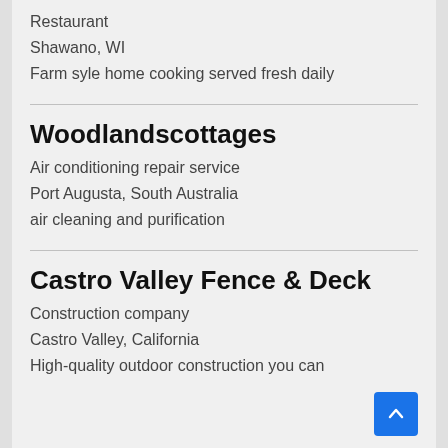Restaurant
Shawano, WI
Farm syle home cooking served fresh daily
Woodlandscottages
Air conditioning repair service
Port Augusta, South Australia
air cleaning and purification
Castro Valley Fence & Deck
Construction company
Castro Valley, California
High-quality outdoor construction you can